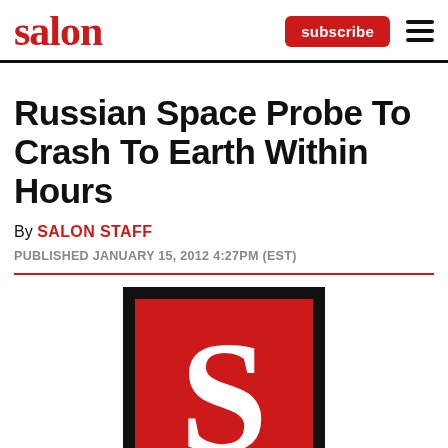salon
Russian Space Probe To Crash To Earth Within Hours
By SALON STAFF
PUBLISHED JANUARY 15, 2012 4:27PM (EST)
[Figure (logo): Salon magazine logo — white letter S on red background inside black square border]